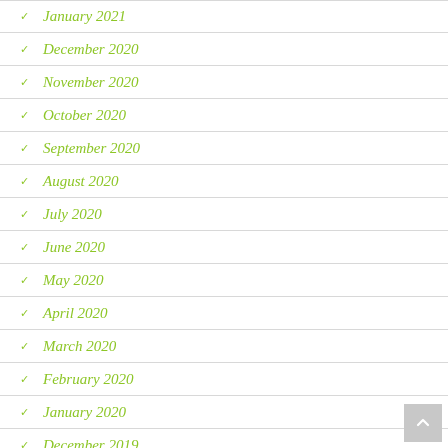January 2021
December 2020
November 2020
October 2020
September 2020
August 2020
July 2020
June 2020
May 2020
April 2020
March 2020
February 2020
January 2020
December 2019